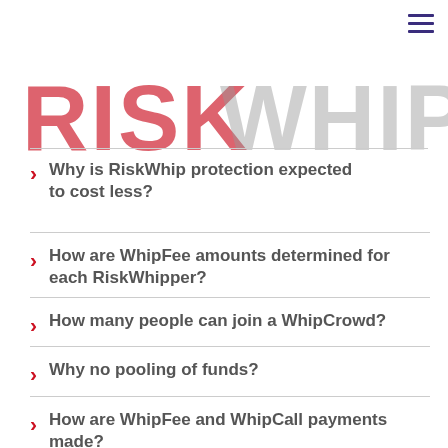[Figure (logo): RiskWhip logo with dotted/halftone red text for RISK and grey text for WHIP]
Why is RiskWhip protection expected to cost less?
How are WhipFee amounts determined for each RiskWhipper?
How many people can join a WhipCrowd?
Why no pooling of funds?
How are WhipFee and WhipCall payments made?
What regulations apply?